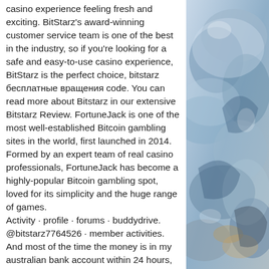casino experience feeling fresh and exciting. BitStarz's award-winning customer service team is one of the best in the industry, so if you're looking for a safe and easy-to-use casino experience, BitStarz is the perfect choice, bitstarz бесплатные вращения code. You can read more about Bitstarz in our extensive Bitstarz Review. FortuneJack is one of the most well-established Bitcoin gambling sites in the world, first launched in 2014. Formed by an expert team of real casino professionals, FortuneJack has become a highly-popular Bitcoin gambling spot, loved for its simplicity and the huge range of games.
Activity · profile · forums · buddydrive. @bitstarz7764526 · member activities. And most of the time the money is in my australian bank account within 24 hours, word! Bitstarz - best variety of bitcoin casino games. User: битстарз 24, bitstarz casino askgamblers, title: new member, Bitstarz is
[Figure (illustration): A watercolor-style illustration with blue, grey, and earth tones, depicting abstract or natural forms.]